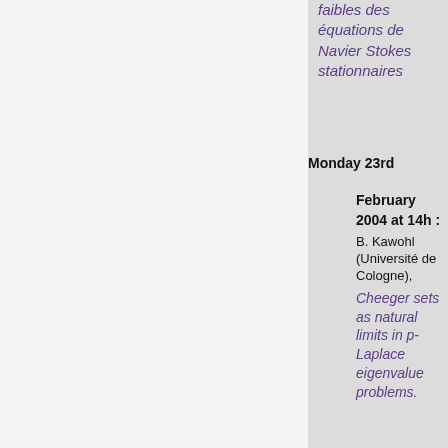faibles des équations de Navier Stokes stationnaires
Monday 23rd
February
2004 at 14h :
B. Kawohl (Université de Cologne),
Cheeger sets as natural limits in p-Laplace eigenvalue problems.